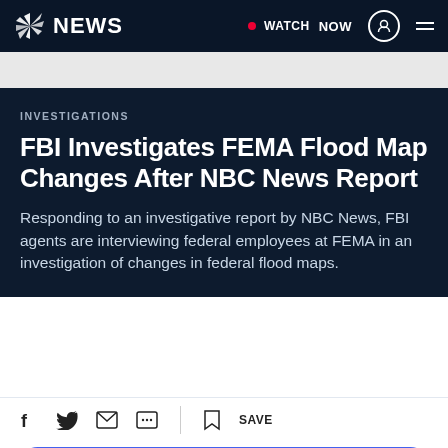NBC NEWS | WATCH NOW
INVESTIGATIONS
FBI Investigates FEMA Flood Map Changes After NBC News Report
Responding to an investigative report by NBC News, FBI agents are interviewing federal employees at FEMA in an investigation of changes in federal flood maps.
SAVE
Stay up-to-date in the NBC News app
March 27, 2014, 9:50 AM UTC / Updated March 27, 2014, 9:50 AM